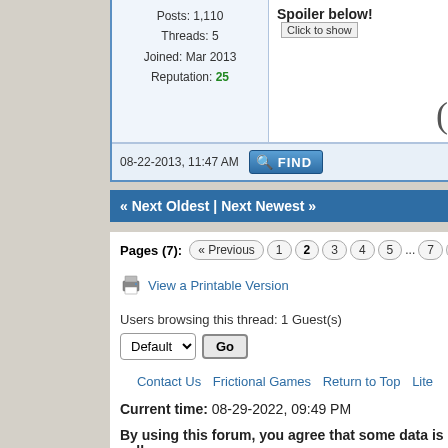Posts: 1,110
Threads: 5
Joined: Mar 2013
Reputation: 25
Spoiler below! Click to show
08-22-2013, 11:47 AM
FIND
« Next Oldest | Next Newest »
Pages (7): « Previous 1 2 3 4 5 ... 7 Next »
View a Printable Version
Users browsing this thread: 1 Guest(s)
Contact Us  Frictional Games  Return to Top  Lite
Current time: 08-29-2022, 09:49 PM
By using this forum, you agree that some data is colle
Powered By MyBB, © 2002-2022 MyBB Group.